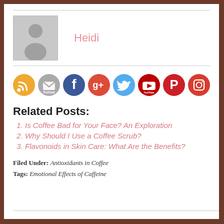[Figure (photo): Author avatar placeholder with silhouette, grey background]
Heidi
[Figure (infographic): Row of 8 social media icons: RSS (orange), Follow/email (grey), Facebook (blue), Google+ (red-orange), Twitter (light blue), YouTube (dark red), Pinterest (red), Instagram (red)]
Related Posts:
Is Coffee Bad for Your Face? An Exploration
Why Should I Use a Coffee Scrub?
Flavonoids in Skin Care: What Are the Benefits?
Filed Under: Antioxidants in Coffee
Tags: Emotional Effects of Caffeine